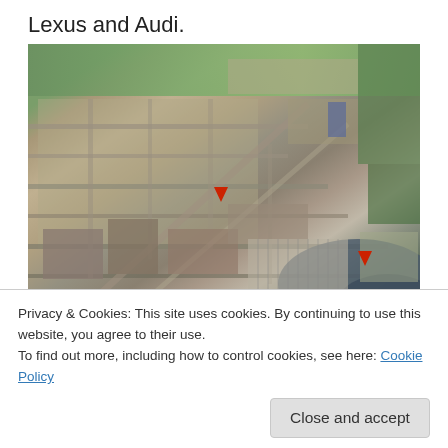Lexus and Audi.
[Figure (photo): Aerial photograph of a large industrial complex / manufacturing facility with surrounding residential and green areas. Two red arrows point to specific locations within the complex. A river or waterway is visible in the lower right portion.]
Privacy & Cookies: This site uses cookies. By continuing to use this website, you agree to their use.
To find out more, including how to control cookies, see here: Cookie Policy
Close and accept